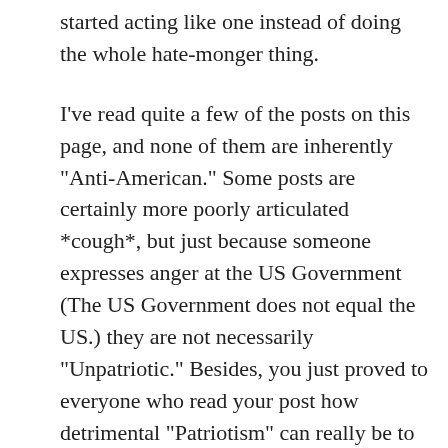started acting like one instead of doing the whole hate-monger thing.
I've read quite a few of the posts on this page, and none of them are inherently "Anti-American." Some posts are certainly more poorly articulated *cough*, but just because someone expresses anger at the US Government (The US Government does not equal the US.) they are not necessarily "Unpatriotic." Besides, you just proved to everyone who read your post how detrimental "Patriotism" can really be to one's own consciousness.
Yes, I do enjoy my "Freedom" but "Freedom" is a relative term. Something tells me that you really believe America is the most free nation to ever exist, and nothing could be further from the truth. (I suppose you think